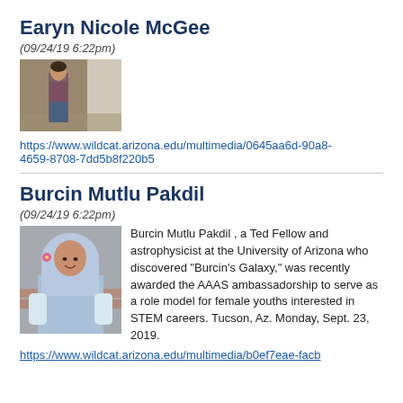Earyn Nicole McGee
(09/24/19 6:22pm)
[Figure (photo): Photo of Earyn Nicole McGee, a young woman standing against a wall in a hallway]
https://www.wildcat.arizona.edu/multimedia/0645aa6d-90a8-4659-8708-7dd5b8f220b5
Burcin Mutlu Pakdil
(09/24/19 6:22pm)
[Figure (photo): Photo of Burcin Mutlu Pakdil, a woman wearing a hijab with a flower, smiling, with a brick building in the background]
Burcin Mutlu  Pakdil , a Ted Fellow and astrophysicist at the University of Arizona who discovered "Burcin's Galaxy," was recently awarded the AAAS ambassadorship to serve as a role model for female youths interested in STEM careers. Tucson, Az. Monday, Sept. 23, 2019.
https://www.wildcat.arizona.edu/multimedia/b0ef7eae-facb...